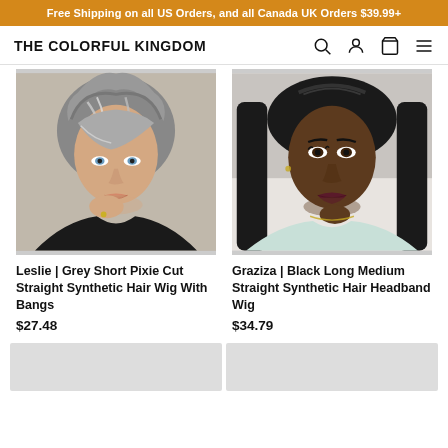Free Shipping on all US Orders, and all Canada UK Orders $39.99+
THE COLORFUL KINGDOM
[Figure (photo): Woman wearing a grey short pixie cut straight synthetic hair wig with bangs]
Leslie | Grey Short Pixie Cut Straight Synthetic Hair Wig With Bangs
$27.48
[Figure (photo): Woman wearing a black long medium straight synthetic hair headband wig]
Graziza | Black Long Medium Straight Synthetic Hair Headband Wig
$34.79